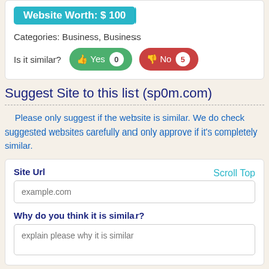Website Worth: $ 100
Categories: Business, Business
Is it similar? Yes 0  No 5
Suggest Site to this list (sp0m.com)
Please only suggest if the website is similar. We do check suggested websites carefully and only approve if it's completely similar.
Scroll Top
Site Url
example.com
Why do you think it is similar?
explain please why it is similar